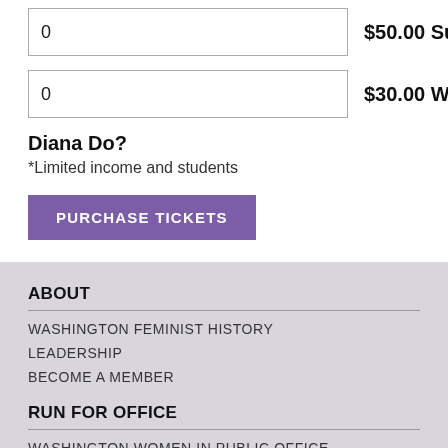0  $50.00 Supershero
0  $30.00 What Would
Diana Do?
*Limited income and students
PURCHASE TICKETS
ABOUT
WASHINGTON FEMINIST HISTORY
LEADERSHIP
BECOME A MEMBER
RUN FOR OFFICE
WASHINGTON WOMEN IN PUBLIC OFFICE